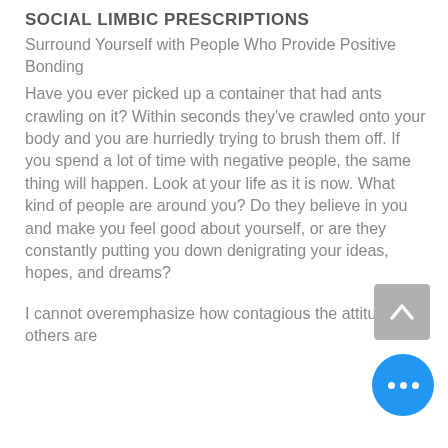SOCIAL LIMBIC PRESCRIPTIONS
Surround Yourself with People Who Provide Positive Bonding
Have you ever picked up a container that had ants crawling on it?  Within seconds they've crawled onto your body and you are hurriedly trying to brush them off.  If you spend a lot of time with negative people,  the same thing will happen.  Look at your life as it is now.  What kind of people are around you?  Do they believe in you and make you feel good about yourself, or are they constantly putting you down denigrating your ideas, hopes, and dreams?
I cannot overemphasize how contagious the attitudes of others are